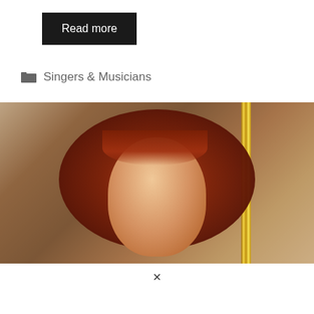Read more
Singers & Musicians
[Figure (photo): Close-up selfie of a young woman with curly auburn/red hair with bangs, heavy eye makeup, looking at camera. Background shows a bathroom mirror with gold frame and wall decorations.]
×